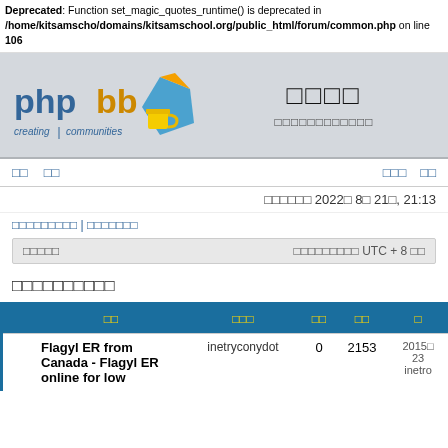Deprecated: Function set_magic_quotes_runtime() is deprecated in /home/kitsamscho/domains/kitsamschool.org/public_html/forum/common.php on line 106
[Figure (logo): phpBB logo - creating communities]
□□□□
□□□□□□□□□□□□
□□  □□  □□□  □□
□□□□□□ 2022□ 8□ 21□, 21:13
□□□□□□□□□ | □□□□□□□
| □□□□□ | □□□□□□□□□ UTC + 8 □□ |
| --- | --- |
□□□□□□□□□□
| □□ | □□□ | □□ | □□ | □ |
| --- | --- | --- | --- | --- |
|  | Flagyl ER from Canada - Flagyl ER online for low | inetryconydot | 0 | 2153 | 2015□
23
inetro |